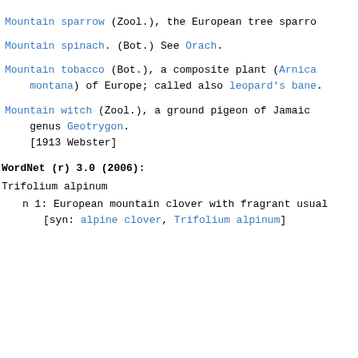Mountain sparrow (Zool.), the European tree sparrow
Mountain spinach. (Bot.) See Orach.
Mountain tobacco (Bot.), a composite plant (Arnica montana) of Europe; called also leopard's bane.
Mountain witch (Zool.), a ground pigeon of Jamaica genus Geotrygon. [1913 Webster]
WordNet (r) 3.0 (2006):
Trifolium alpinum
n 1: European mountain clover with fragrant usual [syn: alpine clover, Trifolium alpinum]